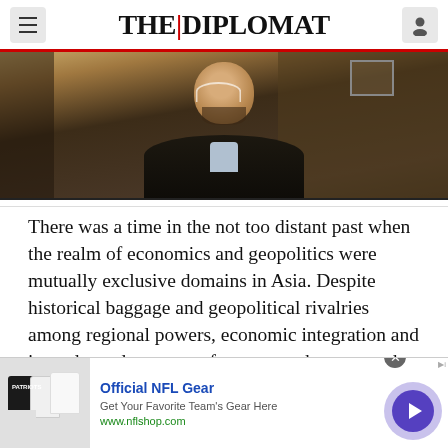THE DIPLOMAT
[Figure (photo): Video screenshot of a bearded man in a dark jacket, sitting in front of bookshelves]
There was a time in the not too distant past when the realm of economics and geopolitics were mutually exclusive domains in Asia. Despite historical baggage and geopolitical rivalries among regional powers, economic integration and inter-dependence went from strength to strength as the
[Figure (other): Advertisement for Official NFL Gear - Get Your Favorite Team's Gear Here - www.nflshop.com]